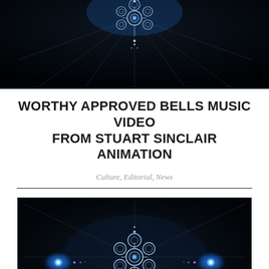[Figure (photo): Dark background animation still showing a snowflake-like mechanical structure with glowing blue light at center top, white dots and geometric lines radiating outward, against a near-black background.]
WORTHY APPROVED BELLS MUSIC VIDEO FROM STUART SINCLAIR ANIMATION
Culture, Editorial, News
[Figure (photo): Dark background animation still showing a snowflake/mechanical mandala structure with glowing blue lights on left and right sides, white geometric patterns in center, against a dark near-black background.]